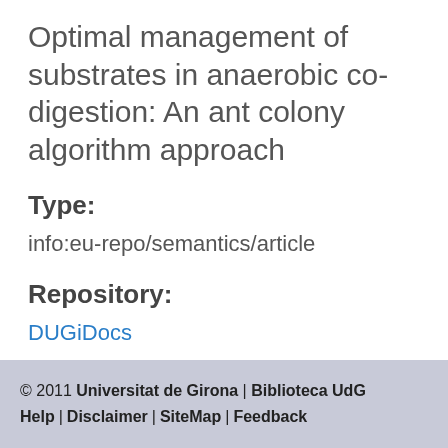Optimal management of substrates in anaerobic co-digestion: An ant colony algorithm approach
Type:
info:eu-repo/semantics/article
Repository:
DUGiDocs
© 2011 Universitat de Girona | Biblioteca UdG  Help |  Disclaimer |  SiteMap |  Feedback